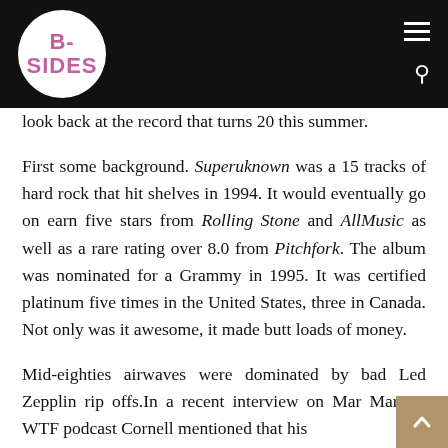B-SIDES
look back at the record that turns 20 this summer.
First some background. Superuknown was a 15 tracks of hard rock that hit shelves in 1994. It would eventually go on earn five stars from Rolling Stone and AllMusic as well as a rare rating over 8.0 from Pitchfork. The album was nominated for a Grammy in 1995. It was certified platinum five times in the United States, three in Canada. Not only was it awesome, it made butt loads of money.
Mid-eighties airwaves were dominated by bad Led Zepplin rip offs.In a recent interview on Marc Maron's WTF podcast Cornell mentioned that his